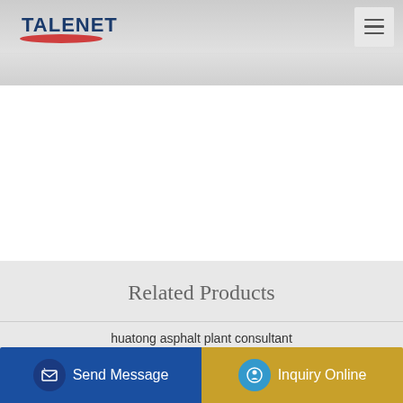TALENET
Related Products
huatong asphalt plant consultant
Concrete Pumping Services in Maricopa AZ
Concrete Mixer Pump Haomei Concrete Mixer with Pump
Send Message | Inquiry Online